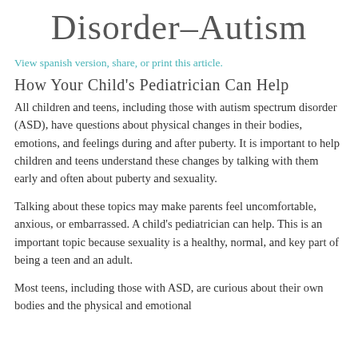Disorder–Autism
View spanish version, share, or print this article.
How Your Child's Pediatrician Can Help
All children and teens, including those with autism spectrum disorder (ASD), have questions about physical changes in their bodies, emotions, and feelings during and after puberty. It is important to help children and teens understand these changes by talking with them early and often about puberty and sexuality.
Talking about these topics may make parents feel uncomfortable, anxious, or embarrassed. A child's pediatrician can help. This is an important topic because sexuality is a healthy, normal, and key part of being a teen and an adult.
Most teens, including those with ASD, are curious about their own bodies and the physical and emotional